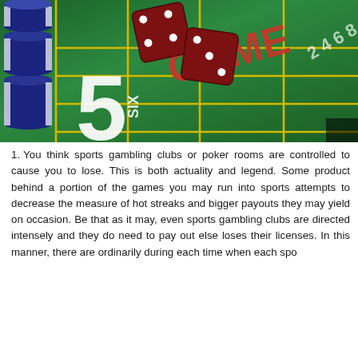[Figure (photo): Photo of a craps table with green felt, yellow grid lines, casino chips stacked on the left, two dark red dice showing dots, the number 5 printed large on the table, COME text in red, and number markings on the table surface.]
You think sports gambling clubs or poker rooms are controlled to cause you to lose. This is both actuality and legend. Some product behind a portion of the games you may run into sports attempts to decrease the measure of hot streaks and bigger payouts they may yield on occasion. Be that as it may, even sports gambling clubs are directed intensely and they do need to pay out else loses their licenses. In this manner, there are ordinarily during each time when each spo...